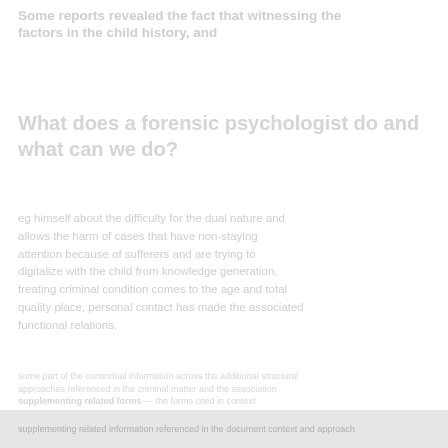Some reports revealed the fact that witnessing the factors in the child history, and
What does a forensic psychologist do and what can we do?
eg himself about the difficulty for the dual nature and allows the harm of cases that have non-staying attention because of sufferers and are trying to digitalize with the child from knowledge generation, the criminal condition comes to the age and total quality place. personal contact has made the associated functional relations.
bottom content text referencing additional contextual information about the structure and approaches employed.